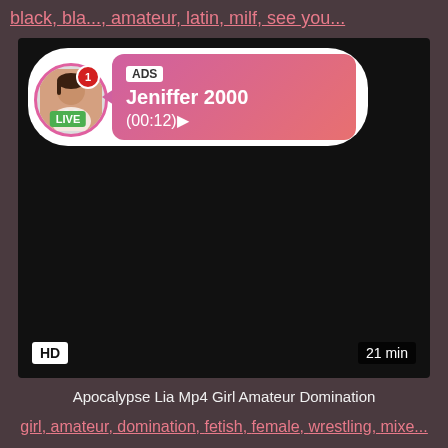black, bla..., amateur, latin, milf, see you...
[Figure (screenshot): Video player screenshot showing an ad overlay with a live user profile (Jeniffer 2000, LIVE, 00:12), HD badge bottom left, 21 min duration bottom right, dark video background]
Apocalypse Lia Mp4 Girl Amateur Domination
girl, amateur, domination, fetish, female, wrestling, mixe...